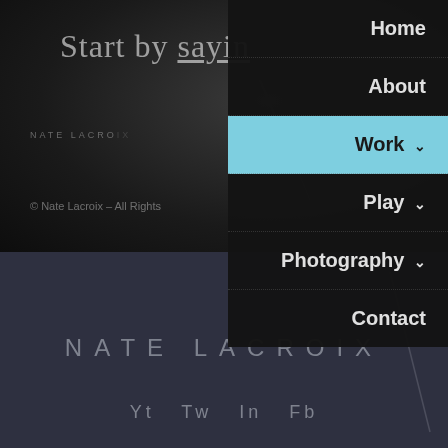Start by sayin
[Figure (screenshot): Navigation dropdown menu overlay on dark website background showing menu items: Home, About, Work (active/highlighted in blue), Play, Photography, Contact]
NATE LACROIX
© Nate Lacroix – All Rights
NATE LACROIX
Yt  Tw  In  Fb